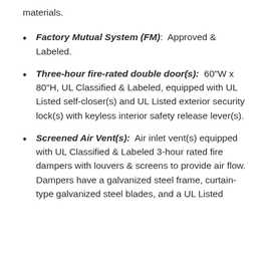materials.
Factory Mutual System (FM): Approved & Labeled.
Three-hour fire-rated double door(s): 60"W x 80"H, UL Classified & Labeled, equipped with UL Listed self-closer(s) and UL Listed exterior security lock(s) with keyless interior safety release lever(s).
Screened Air Vent(s): Air inlet vent(s) equipped with UL Classified & Labeled 3-hour rated fire dampers with louvers & screens to provide air flow. Dampers have a galvanized steel frame, curtain-type galvanized steel blades, and a UL Listed